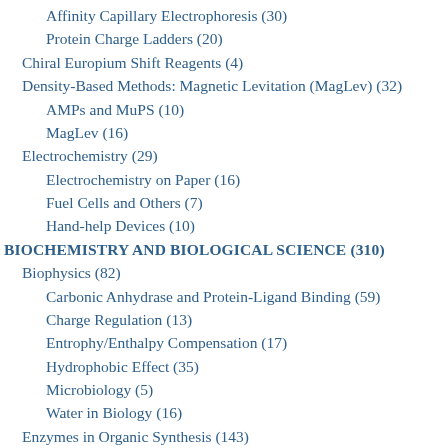Affinity Capillary Electrophoresis (30)
Protein Charge Ladders (20)
Chiral Europium Shift Reagents (4)
Density-Based Methods: Magnetic Levitation (MagLev) (32)
AMPs and MuPS (10)
MagLev (16)
Electrochemistry (29)
Electrochemistry on Paper (16)
Fuel Cells and Others (7)
Hand-help Devices (10)
BIOCHEMISTRY AND BIOLOGICAL SCIENCE (310)
Biophysics (82)
Carbonic Anhydrase and Protein-Ligand Binding (59)
Charge Regulation (13)
Entrophy/Enthalpy Compensation (17)
Hydrophobic Effect (35)
Microbiology (5)
Water in Biology (16)
Enzymes in Organic Synthesis (143)
Co-factor Regeneration and Simple Transformation (78)